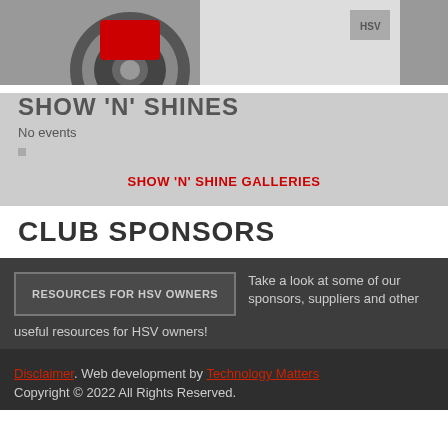[Figure (photo): Car wheel/rim with red brake caliper, HSV logo visible, white vehicle]
SHOW 'N' SHINES
No events
SHOW 'N' SHINE GALLERIES
CLUB SPONSORS
RESOURCES FOR HSV OWNERS
Take a look at some of our sponsors, suppliers and other useful resources for HSV owners!
Disclaimer. Web development by Technology Matters Copyright © 2022 All Rights Reserved.